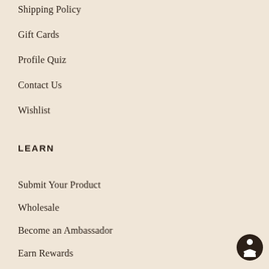Shipping Policy
Gift Cards
Profile Quiz
Contact Us
Wishlist
LEARN
Submit Your Product
Wholesale
Become an Ambassador
Earn Rewards